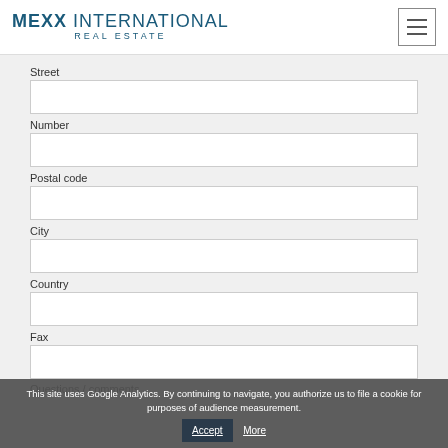MEXX INTERNATIONAL REAL ESTATE
Street
Number
Postal code
City
Country
Fax
Questions / comments
This site uses Google Analytics. By continuing to navigate, you authorize us to file a cookie for purposes of audience measurement.